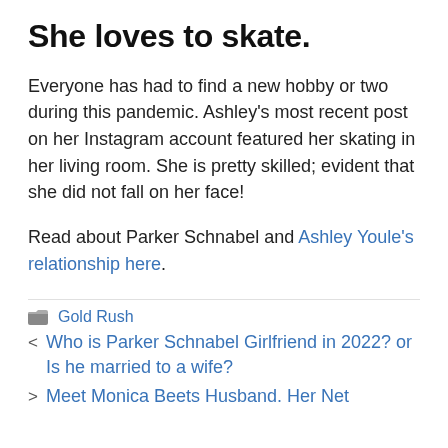She loves to skate.
Everyone has had to find a new hobby or two during this pandemic. Ashley’s most recent post on her Instagram account featured her skating in her living room. She is pretty skilled; evident that she did not fall on her face!
Read about Parker Schnabel and Ashley Youle’s relationship here.
Gold Rush
Who is Parker Schnabel Girlfriend in 2022? or Is he married to a wife?
Meet Monica Beets Husband. Her Net